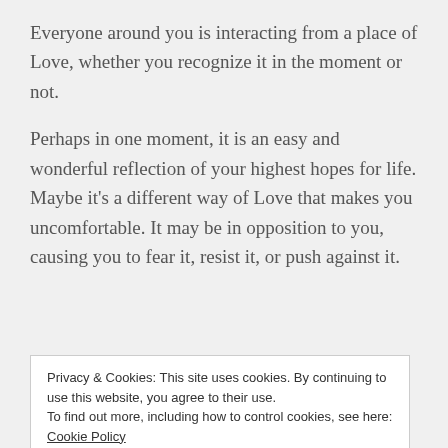Everyone around you is interacting from a place of Love, whether you recognize it in the moment or not.
Perhaps in one moment, it is an easy and wonderful reflection of your highest hopes for life. Maybe it’s a different way of Love that makes you uncomfortable. It may be in opposition to you, causing you to fear it, resist it, or push against it.
Perhaps another is reflecting an immature aspect
Privacy & Cookies: This site uses cookies. By continuing to use this website, you agree to their use.
To find out more, including how to control cookies, see here: Cookie Policy
what seems like its opposite.